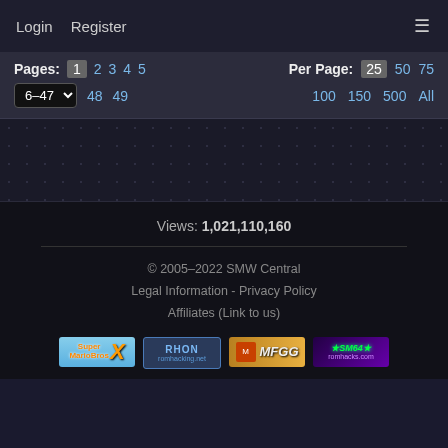Login   Register   ≡
Pages: 1 2 3 4 5   Per Page: 25 50 75
6-47 ▾  48 49   100 150 500 All
Views: 1,021,110,160
© 2005-2022 SMW Central
Legal Information - Privacy Policy
Affiliates (Link to us)
[Figure (logo): Four affiliate website logos: Super Mario Bros X, RHON romhacking.net, MFGG, SM64 romhacks.com]